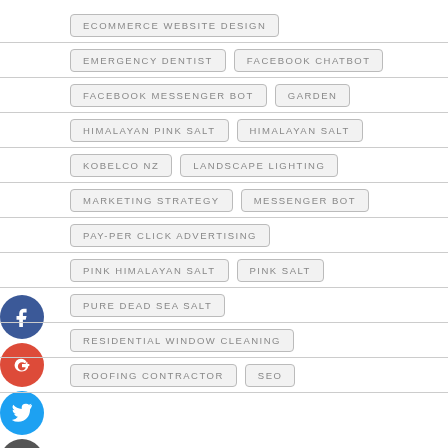ECOMMERCE WEBSITE DESIGN
EMERGENCY DENTIST, FACEBOOK CHATBOT
FACEBOOK MESSENGER BOT, GARDEN
HIMALAYAN PINK SALT, HIMALAYAN SALT
KOBELCO NZ, LANDSCAPE LIGHTING
MARKETING STRATEGY, MESSENGER BOT
PAY-PER CLICK ADVERTISING
PINK HIMALAYAN SALT, PINK SALT
PURE DEAD SEA SALT
RESIDENTIAL WINDOW CLEANING
ROOFING CONTRACTOR, SEO